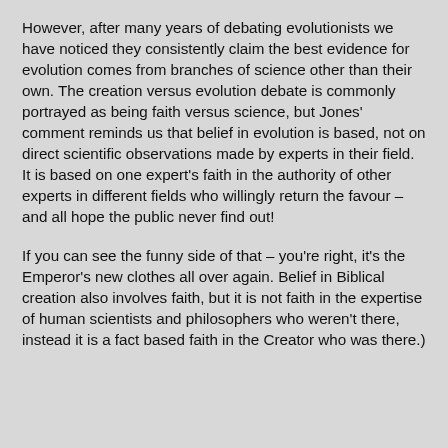However, after many years of debating evolutionists we have noticed they consistently claim the best evidence for evolution comes from branches of science other than their own. The creation versus evolution debate is commonly portrayed as being faith versus science, but Jones' comment reminds us that belief in evolution is based, not on direct scientific observations made by experts in their field. It is based on one expert's faith in the authority of other experts in different fields who willingly return the favour – and all hope the public never find out!
If you can see the funny side of that – you're right, it's the Emperor's new clothes all over again. Belief in Biblical creation also involves faith, but it is not faith in the expertise of human scientists and philosophers who weren't there, instead it is a fact based faith in the Creator who was there.)